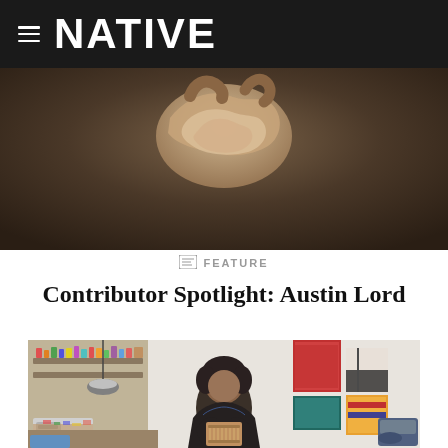NATIVE
[Figure (photo): Close-up photo of hands holding crumpled brown paper or fabric against a dark warm brown background]
FEATURE
Contributor Spotlight: Austin Lord
[Figure (photo): A woman with dark curly hair sits in an art studio working on a small loom. She wears a dark embroidered blouse. Behind her are shelves with colorful threads, a hanging lamp, wall hangings, and a sewing machine on a table.]